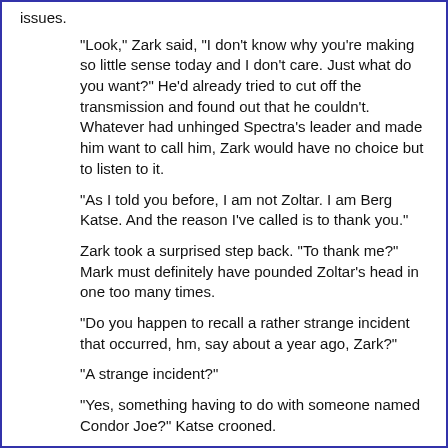issues.
“Look,” Zark said, “I don’t know why you’re making so little sense today and I don’t care.  Just what do you want?” He’d already tried to cut off the transmission and found out that he couldn’t.  Whatever had unhinged Spectra’s leader and made him want to call him, Zark would have no choice but to listen to it.
“As I told you before, I am not Zoltar.  I am Berg Katse.  And the reason I’ve called is to thank you.”
Zark took a surprised step back.  “To thank me?”  Mark must definitely have pounded Zoltar’s head in one too many times.
“Do you happen to recall a rather strange incident that occurred, hm, say about a year ago, Zark?”
“A strange incident?”
“Yes, something having to do with someone named Condor Joe?” Katse crooned.
All of Zark’s lights shut down for an agonizing moment.